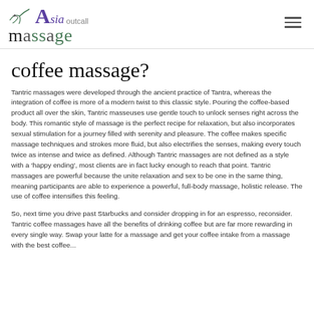Asia outcall massage
coffee massage?
Tantric massages were developed through the ancient practice of Tantra, whereas the integration of coffee is more of a modern twist to this classic style. Pouring the coffee-based product all over the skin, Tantric masseuses use gentle touch to unlock senses right across the body. This romantic style of massage is the perfect recipe for relaxation, but also incorporates sexual stimulation for a journey filled with serenity and pleasure. The coffee makes specific massage techniques and strokes more fluid, but also electrifies the senses, making every touch twice as intense and twice as defined. Although Tantric massages are not defined as a style with a 'happy ending', most clients are in fact lucky enough to reach that point. Tantric massages are powerful because the unite relaxation and sex to be one in the same thing, meaning participants are able to experience a powerful, full-body massage, holistic release. The use of coffee intensifies this feeling.
So, next time you drive past Starbucks and consider dropping in for an espresso, reconsider. Tantric coffee massages have all the benefits of drinking coffee but are far more rewarding in every single way. Swap your latte for a massage and get your coffee intake from a massage with the best coffee...